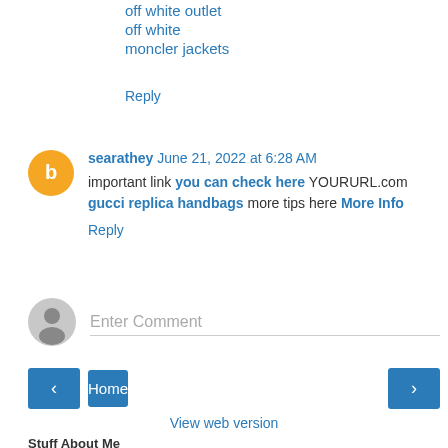off white outlet
off white
moncler jackets
Reply
searathey  June 21, 2022 at 6:28 AM
important link you can check here YOURURL.com gucci replica handbags more tips here More Info
Reply
Enter Comment
Home
View web version
Stuff About Me